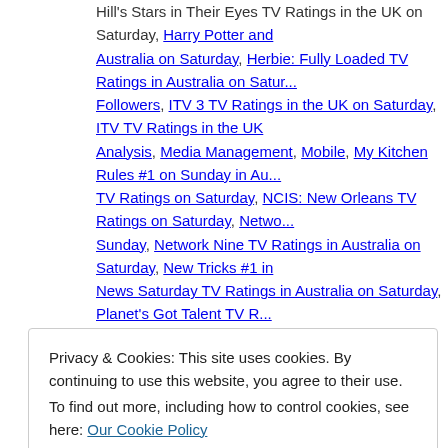Hill's Stars in Their Eyes TV Ratings in the UK on Saturday, Harry Potter and Australia on Saturday, Herbie: Fully Loaded TV Ratings in Australia on Saturday, Followers, ITV 3 TV Ratings in the UK on Saturday, ITV TV Ratings in the UK, Analysis, Media Management, Mobile, My Kitchen Rules #1 on Sunday in Australia TV Ratings on Saturday, NCIS: New Orleans TV Ratings on Saturday, Network Sunday, Network Nine TV Ratings in Australia on Saturday, New Tricks #1 in News Saturday TV Ratings in Australia on Saturday, Planet's Got Talent TV R... Ratings in the UK on Saturday, Red Band Society finale TV Ratings on Saturday, Saturday, Seven News Saturday TV Ratings in Australia on Saturday, Seven Sponge Bob The Movie #1 at the Box Office this weekend, Take Me Out TV R... Television Ratings on Saturday, Ten Eyewitness News Saturday TV Ratings in Australia on Saturday, The Jonathan Ross Show TV Ratings in the UK on Sa... List TV Ratings in the UK on Saturday, The Voice UK #1 in TV Ratings in the Weather TV Ratings in the UK on Saturday, Top Ten Box Office Feb 6-8 2015 Ratings on Saturday | Leave a comment
Privacy & Cookies: This site uses cookies. By continuing to use this website, you agree to their use. To find out more, including how to control cookies, see here: Our Cookie Policy